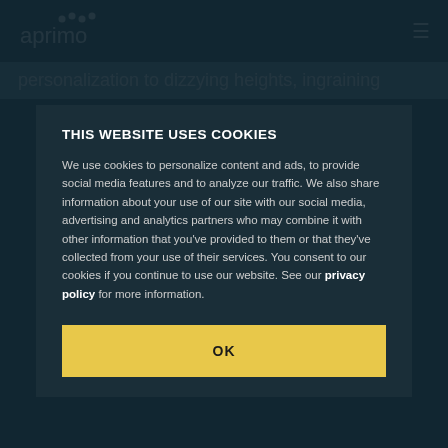aprimo
personalization to dizzying heights, ingraining
THIS WEBSITE USES COOKIES
We use cookies to personalize content and ads, to provide social media features and to analyze our traffic. We also share information about your use of our site with our social media, advertising and analytics partners who may combine it with other information that you've provided to them or that they've collected from your use of their services. You consent to our cookies if you continue to use our website. See our privacy policy for more information.
OK